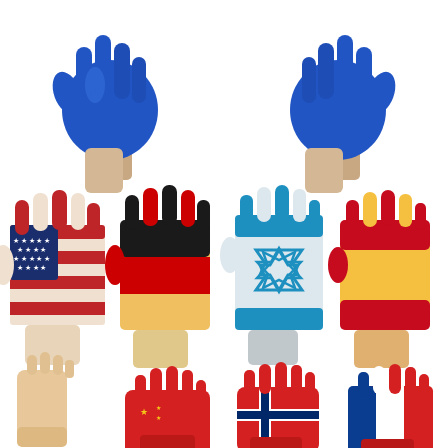[Figure (photo): Collage of hands painted or decorated with national flags and colors. Top row: two hands raised upward painted solid blue. Middle row: four open palms showing national flag designs — USA flag (stars and stripes), German flag (black, red, gold), Israeli flag (Star of David on blue and white), and Spanish flag (red and yellow). Bottom row (partially visible): four pairs of clapping or raised hands decorated with flag colors — plain/natural, Chinese flag (red with yellow stars), Norwegian flag (blue cross on red and white), and French or Dutch flag (red, white, blue stripes). White background throughout.]